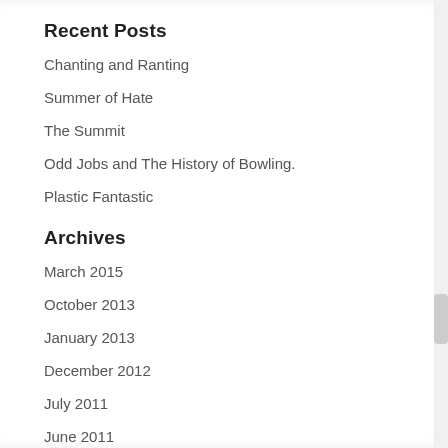Recent Posts
Chanting and Ranting
Summer of Hate
The Summit
Odd Jobs and The History of Bowling.
Plastic Fantastic
Archives
March 2015
October 2013
January 2013
December 2012
July 2011
June 2011
March 2011